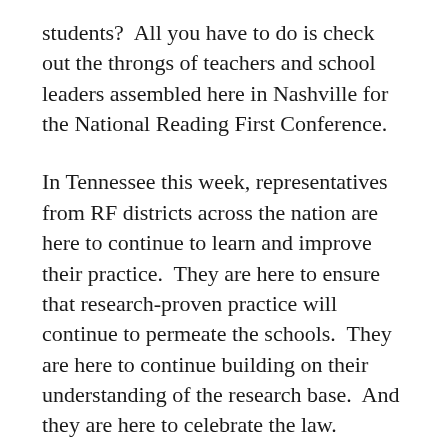students?  All you have to do is check out the throngs of teachers and school leaders assembled here in Nashville for the National Reading First Conference.
In Tennessee this week, representatives from RF districts across the nation are here to continue to learn and improve their practice.  They are here to ensure that research-proven practice will continue to permeate the schools.  They are here to continue building on their understanding of the research base.  And they are here to celebrate the law.
Eduflack will be posting observations from the conference throughout the week.  We have